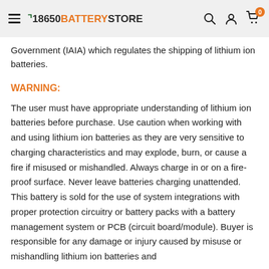18650 BATTERY STORE
Government (IAIA) which regulates the shipping of lithium ion batteries.
WARNING:
The user must have appropriate understanding of lithium ion batteries before purchase. Use caution when working with and using lithium ion batteries as they are very sensitive to charging characteristics and may explode, burn, or cause a fire if misused or mishandled. Always charge in or on a fire-proof surface. Never leave batteries charging unattended. This battery is sold for the use of system integrations with proper protection circuitry or battery packs with a battery management system or PCB (circuit board/module). Buyer is responsible for any damage or injury caused by misuse or mishandling lithium ion batteries and